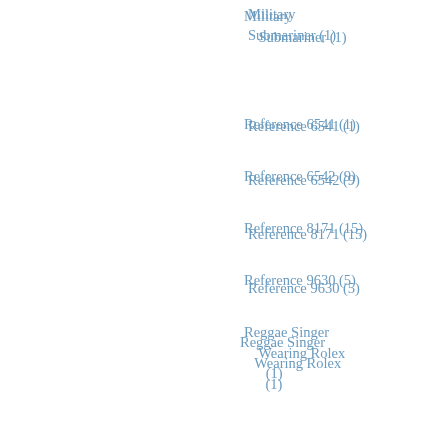Military Submariner (1)
Reference 6541 (1)
Reference 6542 (9)
Reference 8171 (15)
Reference 9630 (5)
Reggae Singer Wearing Rolex (1)
Reggie Jackson (1)
Reinhold Messner (1)
Religious Figure wearing Rolex (3)
Rene P. Denton (2)
Rene-Paul Jeanneret (4)
Renee Zellweger (1)
Republic Aviation (1)